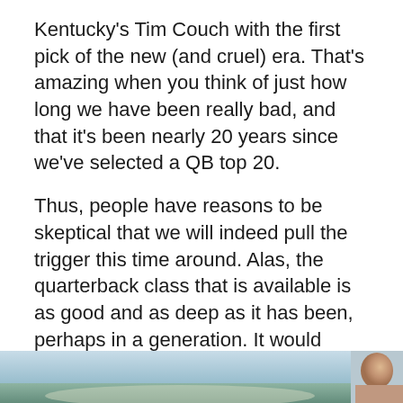Kentucky's Tim Couch with the first pick of the new (and cruel) era. That's amazing when you think of just how long we have been really bad, and that it's been nearly 20 years since we've selected a QB top 20.
Thus, people have reasons to be skeptical that we will indeed pull the trigger this time around. Alas, the quarterback class that is available is as good and as deep as it has been, perhaps in a generation. It would seem therefore that we will finally break this head-scratching cycle and take a guy with a top pick (the top pick as it happens) this year. In a rare show of good fortune, we have several good options to choose from:
Josh Allen, Wyoming
[Figure (photo): Partial photo strip at the bottom of the page showing an outdoor scene with a person visible on the right side]